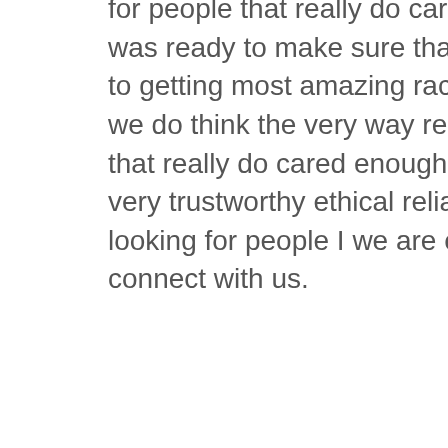for people that really do care connect with our grace have today. He was ready to make sure that you enough HSS Kaunas when it comes to getting most amazing race of them are zoster really is going great we do think the very way really is important in every looking for people that really do cared enough to connect with a snooper graph were very trustworthy ethical reliable. Which is really important and if you're looking for people I we are committed to what they can do the deftly connect with us.
Ready to make sure that you are getting the best solutions every day that really is important every looking for people that really do care connect with our grace our team is ready to make sure that you are getting the most amazing gray services that really is quite phenomenal and if you're looking for people to make amazing gratings happen then deftly connect with us our team is ready to make sure that you and if HSS Kaunas when it comes to getting most amazing